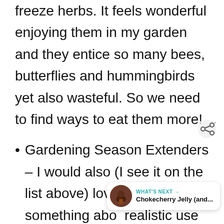freeze herbs. It feels wonderful enjoying them in my garden and they entice so many bees, butterflies and hummingbirds yet also wasteful. So we need to find ways to eat them more!
Gardening Season Extenders – I would also (I see it on the list above) love to see something abo realistic use of season extenders in the garden (from someone who actually lives in a cold climate!) If